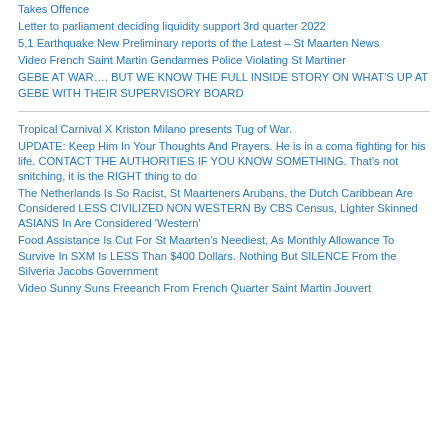Takes Offence
Letter to parliament deciding liquidity support 3rd quarter 2022
5,1 Earthquake New Preliminary reports of the Latest – St Maarten News
Video French Saint Martin Gendarmes Police Violating St Martiner
GEBE AT WAR…. BUT WE KNOW THE FULL INSIDE STORY ON WHAT'S UP AT GEBE WITH THEIR SUPERVISORY BOARD
Tropical Carnival X Kriston Milano presents Tug of War.
UPDATE: Keep Him In Your Thoughts And Prayers. He is in a coma fighting for his life. CONTACT THE AUTHORITIES IF YOU KNOW SOMETHING. That's not snitching, it is the RIGHT thing to do
The Netherlands Is So Racist, St Maarteners Arubans, the Dutch Caribbean Are Considered LESS CIVILIZED NON WESTERN By CBS Census, Lighter Skinned ASIANS In Are Considered 'Western'
Food Assistance Is Cut For St Maarten's Neediest, As Monthly Allowance To Survive In SXM Is LESS Than $400 Dollars. Nothing But SILENCE From the Silveria Jacobs Government
Video Sunny Suns Freeanch From French Quarter Saint Martin Jouvert